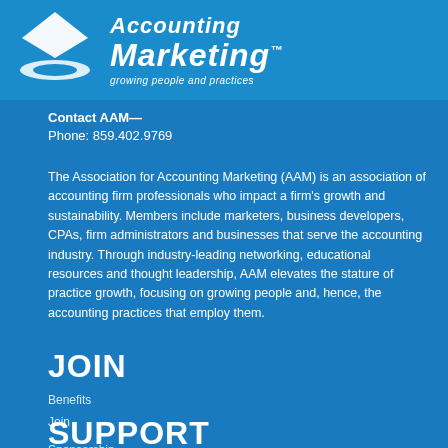[Figure (logo): Association for Accounting Marketing logo with funnel/bowl icon and text 'Accounting Marketing™ growing people and practices']
Contact AAM—
Phone: 859.402.9769
The Association for Accounting Marketing (AAM) is an association of accounting firm professionals who impact a firm's growth and sustainability. Members include marketers, business developers, CPAs, firm administrators and businesses that serve the accounting industry. Through industry-leading networking, educational resources and thought leadership, AAM elevates the stature of practice growth, focusing on growing people and, hence, the accounting practices that employ them.
JOIN
Benefits
Join
SUPPORT
Sponsorship